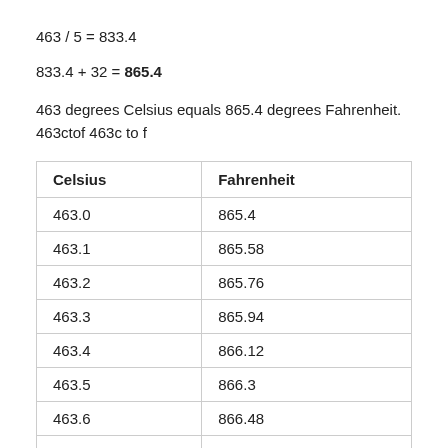463 degrees Celsius equals 865.4 degrees Fahrenheit.
463ctof 463c to f
| Celsius | Fahrenheit |
| --- | --- |
| 463.0 | 865.4 |
| 463.1 | 865.58 |
| 463.2 | 865.76 |
| 463.3 | 865.94 |
| 463.4 | 866.12 |
| 463.5 | 866.3 |
| 463.6 | 866.48 |
| 463.7 | 866.66 |